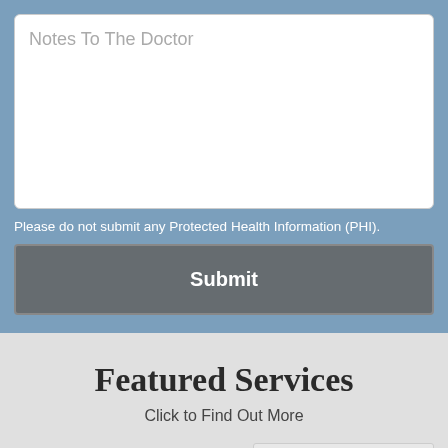Notes To The Doctor
Please do not submit any Protected Health Information (PHI).
Submit
Featured Services
Click to Find Out More
Accessibility View